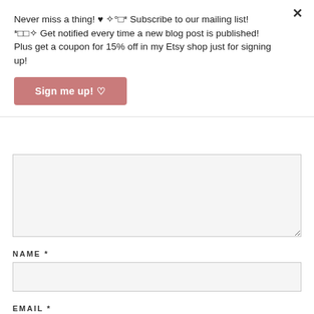Never miss a thing! ♥ ✧°□* Subscribe to our mailing list! *□□✧ Get notified every time a new blog post is published! Plus get a coupon for 15% off in my Etsy shop just for signing up!
[Figure (other): Pink 'Sign me up! ♡' button]
[Figure (other): Comment textarea form field (light gray, empty)]
NAME *
[Figure (other): Name input text field (light gray, empty)]
EMAIL *
[Figure (other): Email input text field (light gray, empty, partially visible)]